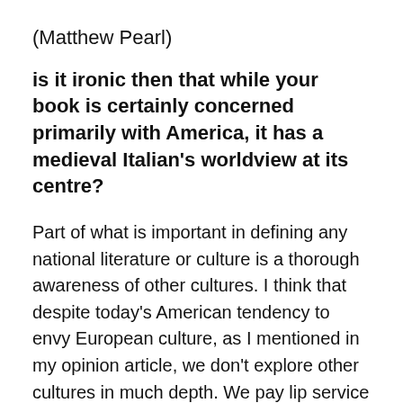(Matthew Pearl)
is it ironic then that while your book is certainly concerned primarily with America, it has a medieval Italian’s worldview at its centre?
Part of what is important in defining any national literature or culture is a thorough awareness of other cultures. I think that despite today’s American tendency to envy European culture, as I mentioned in my opinion article, we don’t explore other cultures in much depth. We pay lip service to being part of an “international community” without stopping to define it and define the place of international